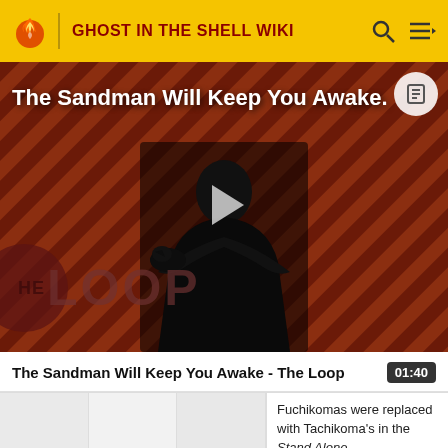GHOST IN THE SHELL WIKI
[Figure (screenshot): Video thumbnail for 'The Sandman Will Keep You Awake - The Loop' showing a figure in black against a diagonal striped orange/red background with THE LOOP text overlay and a play button]
The Sandman Will Keep You Awake - The Loop  01:40
Fuchikomas were replaced with Tachikoma's in the Stand Alone